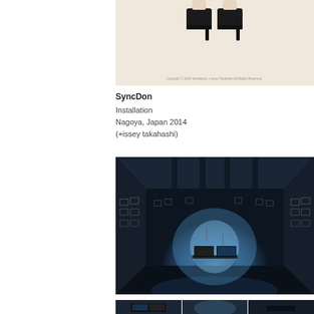[Figure (photo): Cropped photo showing bottom of a person's legs wearing black high heel shoes, standing on a light beige/cream background. Copyright text visible at bottom: Copyright © 2014 4architects + Issey Takahashi All Rights Reserved.]
SyncDon
Installation
Nagoya, Japan 2014
(+issey takahashi)
[Figure (photo): Dark gallery room interior with blue glowing light emanating from two monitors/screens on a plinth in the center. Walls have small framed artworks arranged in a grid. Dark reflective floor.]
[Figure (photo): Strip of three smaller photos at bottom showing details from the SyncDon installation.]